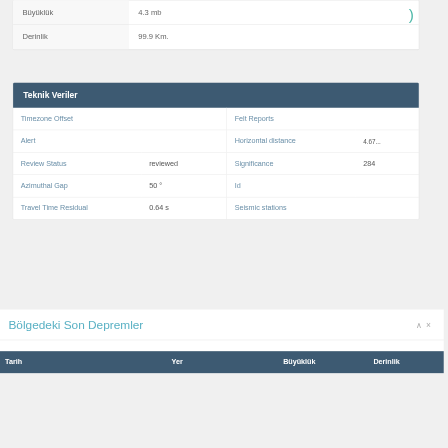|  |  |
| --- | --- |
| Büyüklük | 4.3 mb |
| Derinlik | 99.9 Km. |
| Teknik Veriler |
| --- |
| Timezone Offset |  | Felt Reports |  |
| Alert |  | Horizontal distance | 4.67... |
| Review Status | reviewed | Significance | 284 |
| Azimuthal Gap | 50 ° | Id |  |
| Travel Time Residual | 0.64 s | Seismic stations |  |
Bölgedeki Son Depremler
| Tarih | Yer | Büyüklük | Derinlik |
| --- | --- | --- | --- |